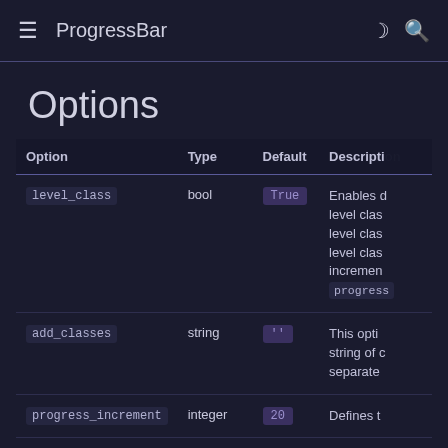ProgressBar
Options
| Option | Type | Default | Description |
| --- | --- | --- | --- |
| level_class | bool | True | Enables d
level clas
level clas
level clas
increment
progress |
| add_classes | string | '' | This opti
string of c
separate |
| progress_increment | integer | 20 | Defines t |